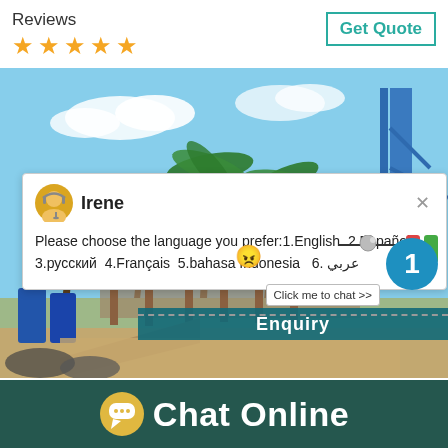Reviews
[Figure (illustration): Five gold/orange star rating icons]
Get Quote
[Figure (photo): Construction site with palm trees, blue sky, blue steel structure visible]
[Figure (screenshot): Chat popup with agent Irene avatar saying: Please choose the language you prefer:1.English  2.Español 3.русский  4.Français  5.bahasa Indonesia   6. عربي]
1
Click me to chat >>
Enquiry
Chat Online